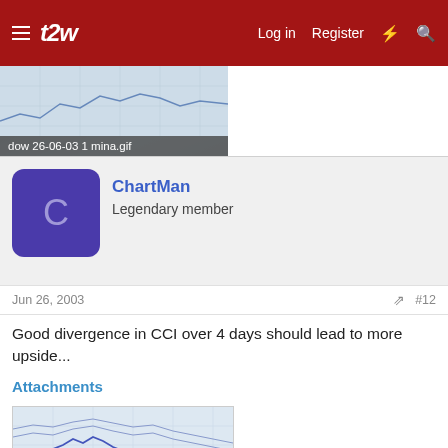t2w — Log in  Register
[Figure (screenshot): Partial financial chart image with caption bar showing filename]
dow 26-06-03 1 mina.gif
ChartMan
Legendary member
Jun 26, 2003
#12
Good divergence in CCI over 4 days should lead to more upside...
Attachments
[Figure (screenshot): Financial chart showing price movements with blue line/candles on light background]